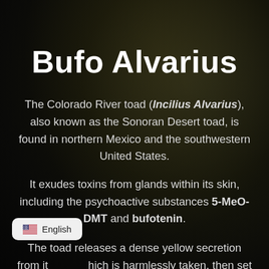Bufo Alvarius
The Colorado River toad (Incilius Alvarius), also known as the Sonoran Desert toad, is found in northern Mexico and the southwestern United States.
It exudes toxins from glands within its skin, including the psychoactive substances 5-MeO-DMT and bufotenin.
The toad releases a dense yellow secretion from it... hich is harmlessly taken, then set ...o nature. Once dry it becomes